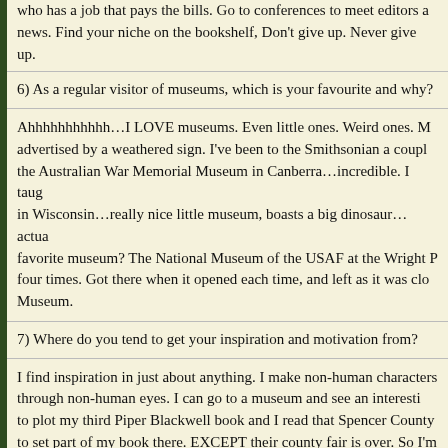who has a job that pays the bills. Go to conferences to meet editors and news. Find your niche on the bookshelf, Don't give up. Never give up.
6) As a regular visitor of museums, which is your favourite and why?
Ahhhhhhhhhhh…I LOVE museums. Even little ones. Weird ones. M advertised by a weathered sign. I've been to the Smithsonian a coup the Australian War Memorial Museum in Canberra…incredible. I taug in Wisconsin…really nice little museum, boasts a big dinosaur…actua favorite museum? The National Museum of the USAF at the Wright P four times. Got there when it opened each time, and left as it was clo Museum.
7) Where do you tend to get your inspiration and motivation from?
I find inspiration in just about anything. I make non-human characters through non-human eyes. I can go to a museum and see an interesti to plot my third Piper Blackwell book and I read that Spencer County to set part of my book there. EXCEPT their county fair is over. So I'm notebook and camera. I'll watch the kids on the rides, the food vendo lots of notes and I'll fold it into the background of my book.